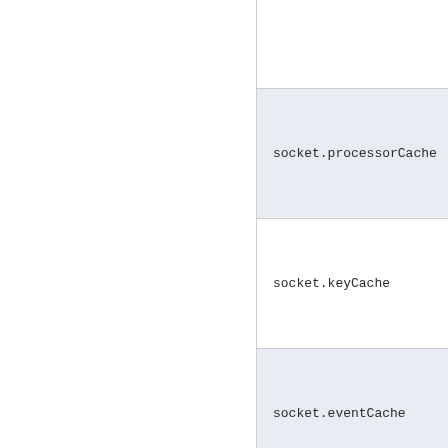|  | Property |
| --- | --- |
|  |  |
|  | socket.processorCache |
|  | socket.keyCache |
|  | socket.eventCache |
|  | selectorPool.maxSelectors |